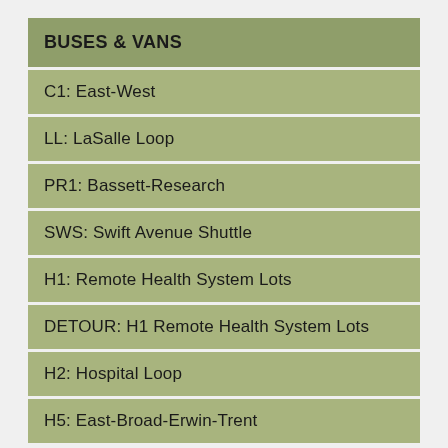BUSES & VANS
C1: East-West
LL: LaSalle Loop
PR1: Bassett-Research
SWS: Swift Avenue Shuttle
H1: Remote Health System Lots
DETOUR: H1 Remote Health System Lots
H2: Hospital Loop
H5: East-Broad-Erwin-Trent